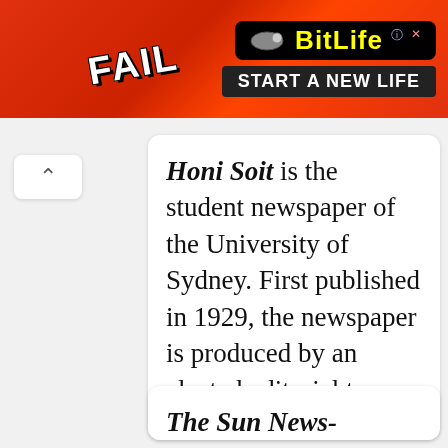[Figure (screenshot): Advertisement banner for BitLife mobile game showing 'FAIL' text with cartoon character, flames, and 'START A NEW LIFE' tagline on red background]
Honi Soit is the student newspaper of the University of Sydney. First published in 1929, the newspaper is produced by an elected editorial team and a select group of reporters sourced from the university's populace. The name is an abbreviation of the Anglo-Norman "Honi soit qui mal y pense".
The Sun News-Pictorial was a morning daily tabloid newspaper